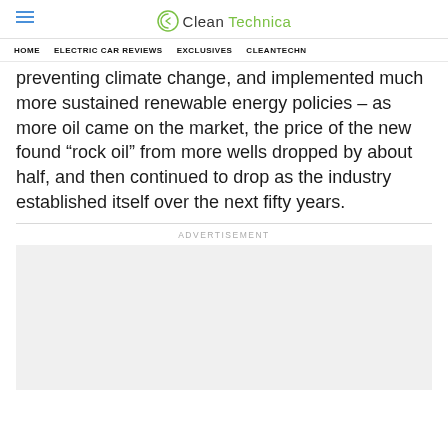CleanTechnica
HOME | ELECTRIC CAR REVIEWS | EXCLUSIVES | CLEANTECHN
preventing climate change, and implemented much more sustained renewable energy policies – as more oil came on the market, the price of the new found “rock oil” from more wells dropped by about half, and then continued to drop as the industry established itself over the next fifty years.
ADVERTISEMENT